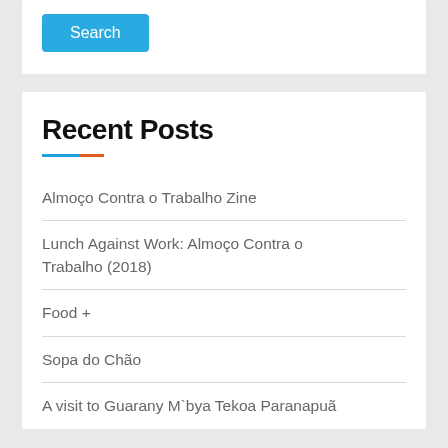[Figure (other): Search button — a blue rounded rectangle with white text reading 'Search']
Recent Posts
Almoço Contra o Trabalho Zine
Lunch Against Work: Almoço Contra o Trabalho (2018)
Food +
Sopa do Chão
A visit to Guarany M`bya Tekoa Paranapuã